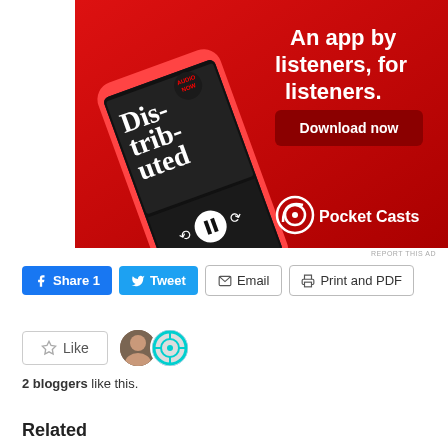[Figure (advertisement): Pocket Casts app advertisement on red background. Shows a smartphone displaying a podcast called 'Distributed'. Text reads 'An app by listeners, for listeners.' with a 'Download now' button and Pocket Casts logo.]
REPORT THIS AD
Share 1  Tweet  Email  Print and PDF
Like
2 bloggers like this.
Related